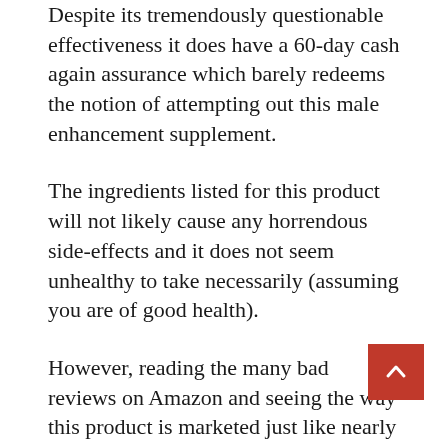Despite its tremendously questionable effectiveness it does have a 60-day cash again assurance which barely redeems the notion of attempting out this male enhancement supplement.
The ingredients listed for this product will not likely cause any horrendous side-effects and it does not seem unhealthy to take necessarily (assuming you are of good health).
However, reading the many bad reviews on Amazon and seeing the way this product is marketed just like nearly every other male enhancement product that is a complete scam, definitely raises a lot of red flags.
This seems like just another one of those male enhancement supplements that does not harm your